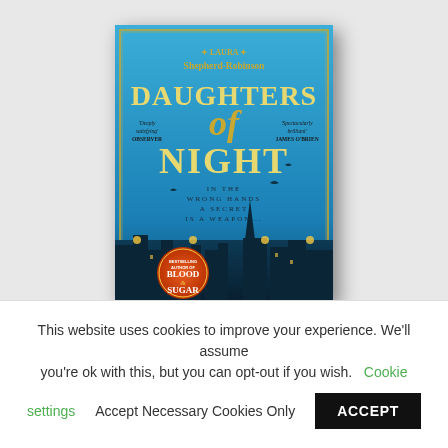[Figure (illustration): Book cover of 'Daughters of Night' by Laura Shepherd-Robinson. Blue background with gold/cream lettering. The title 'DAUGHTERS of NIGHT' is prominently displayed. Subtitle reads 'IN THE WRONG HANDS A SECRET IS A WEAPON...' Two birds in silhouette. Bottom shows a cityscape at night with lanterns. Orange circular badge reads 'BLOOD & SUGAR'. Blurbs on cover: 'Deeply satisfying OBSERVER' and 'Spectacularly brilliant JAMES O'BRIEN'. Author name at top: * LAURA * Shepherd-Robinson.]
This website uses cookies to improve your experience. We'll assume you're ok with this, but you can opt-out if you wish. Cookie settings   Accept Necessary Cookies Only   ACCEPT